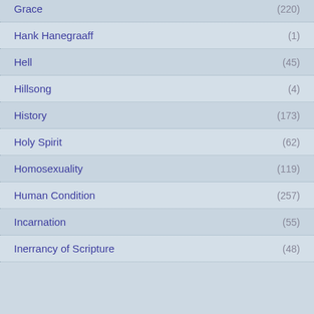Grace (220)
Hank Hanegraaff (1)
Hell (45)
Hillsong (4)
History (173)
Holy Spirit (62)
Homosexuality (119)
Human Condition (257)
Incarnation (55)
Inerrancy of Scripture (48)